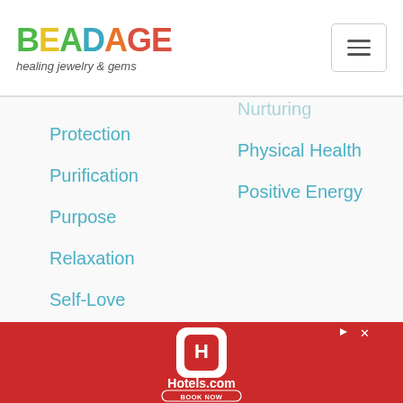BEADAGE healing jewelry & gems
Nurturing
Physical Health
Positive Energy
Protection
Purification
Purpose
Relaxation
Self-Love
Visioning
Vitality
[Figure (other): Hotels.com advertisement banner with red background, Hotels.com logo icon, Hotels.com text, and BOOK NOW button]